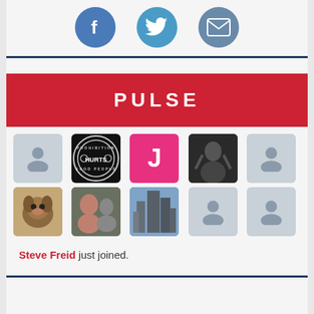[Figure (infographic): Three social media/share icons: Facebook (blue circle with F), Twitter (blue circle with bird), Email (gray-blue circle with envelope)]
[Figure (infographic): Red banner with white text 'PULSE' in bold, wide-spaced letters]
[Figure (infographic): Grid of user profile avatars: row 1 has gray placeholder, Prohibition Hurts Good People logo, pink J initial, dark fitness photo, gray placeholder; row 2 has dog photo, two people laughing photo, city skyline photo, gray placeholder, gray placeholder]
Steve Freid just joined.